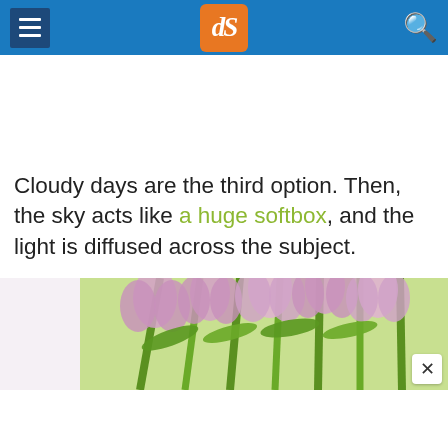dPS navigation header with menu, logo, and search
Cloudy days are the third option. Then, the sky acts like a huge softbox, and the light is diffused across the subject.
[Figure (photo): Photo of pink/purple tulip flowers with green stems on a light background]